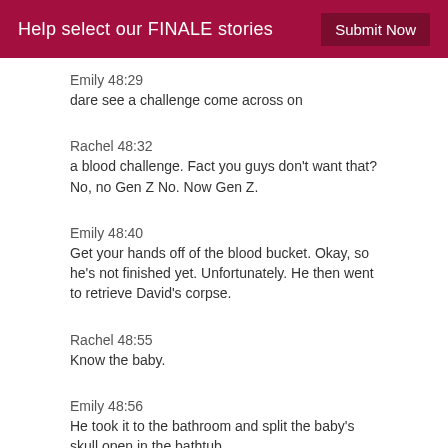Help select our FINALE stories  Submit Now
Emily 48:29
dare see a challenge come across on
Rachel 48:32
a blood challenge. Fact you guys don't want that? No, no Gen Z No. Now Gen Z.
Emily 48:40
Get your hands off of the blood bucket. Okay, so he's not finished yet. Unfortunately. He then went to retrieve David's corpse.
Rachel 48:55
Know the baby.
Emily 48:56
He took it to the bathroom and split the baby's skull open in the bathtub